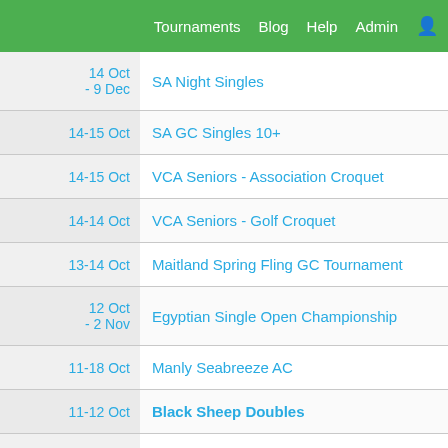Tournaments  Blog  Help  Admin
| Date | Tournament |
| --- | --- |
| 14 Oct - 9 Dec | SA Night Singles |
| 14-15 Oct | SA GC Singles 10+ |
| 14-15 Oct | VCA Seniors - Association Croquet |
| 14-14 Oct | VCA Seniors - Golf Croquet |
| 13-14 Oct | Maitland Spring Fling GC Tournament |
| 12 Oct - 2 Nov | Egyptian Single Open Championship |
| 11-18 Oct | Manly Seabreeze AC |
| 11-12 Oct | Black Sheep Doubles |
| 11-12 Oct | Morrinsville AC Premier Singles |
| 11-12 Oct | Mrs WR Pitter Cup |